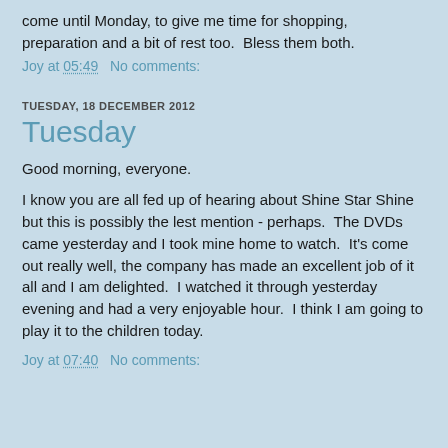come until Monday, to give me time for shopping, preparation and a bit of rest too.  Bless them both.
Joy at 05:49    No comments:
TUESDAY, 18 DECEMBER 2012
Tuesday
Good morning, everyone.
I know you are all fed up of hearing about Shine Star Shine but this is possibly the lest mention - perhaps.  The DVDs came yesterday and I took mine home to watch.  It's come out really well, the company has made an excellent job of it all and I am delighted.  I watched it through yesterday evening and had a very enjoyable hour.  I think I am going to play it to the children today.
Joy at 07:40    No comments: